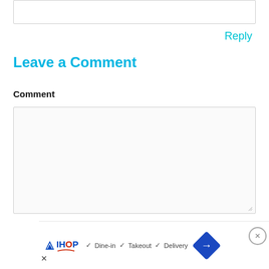[Figure (screenshot): Top edge of a text input box (partially visible at top of page)]
Reply
Leave a Comment
Comment
[Figure (screenshot): Large empty comment textarea input box]
Nam
[Figure (screenshot): IHOP advertisement banner showing: IHOP logo, checkmarks for Dine-in, Takeout, Delivery, a blue navigation diamond arrow, a close X button]